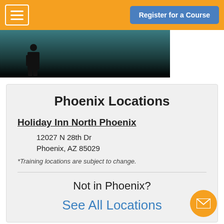Register for a Course
[Figure (photo): Partial photo showing a person silhouette against a teal/dark background, cropped at top of page]
Phoenix Locations
Holiday Inn North Phoenix
12027 N 28th Dr
Phoenix, AZ 85029
*Training locations are subject to change.
Not in Phoenix?
See All Locations